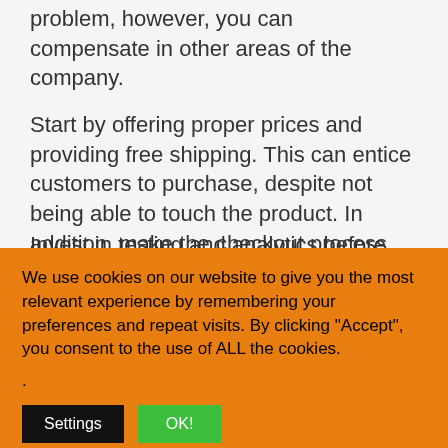problem, however, you can compensate in other areas of the company.
Start by offering proper prices and providing free shipping. This can entice customers to purchase, despite not being able to touch the product. In addition, make the checkout process simple with streamlined shopping carts . 3. Put Everything to the Test
Invest in testing and analytics before, during,
We use cookies on our website to give you the most relevant experience by remembering your preferences and repeat visits. By clicking “Accept”, you consent to the use of ALL the cookies.
.